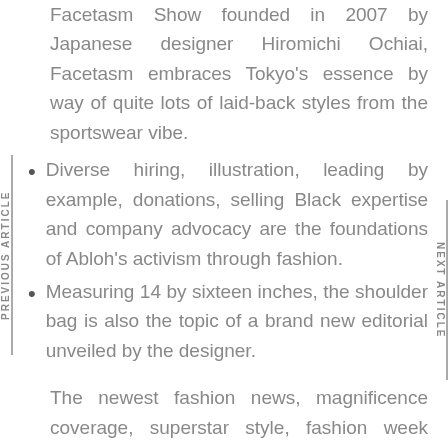Facetasm Show founded in 2007 by Japanese designer Hiromichi Ochiai, Facetasm embraces Tokyo's essence by way of quite lots of laid-back styles from the sportswear vibe.
Diverse hiring, illustration, leading by example, donations, selling Black expertise and company advocacy are the foundations of Abloh's activism through fashion.
Measuring 14 by sixteen inches, the shoulder bag is also the topic of a brand new editorial unveiled by the designer.
The newest fashion news, magnificence coverage, superstar style, fashion week updates, culture critiques, and videos on Vogue.com. Demi Moore looked timeless at the